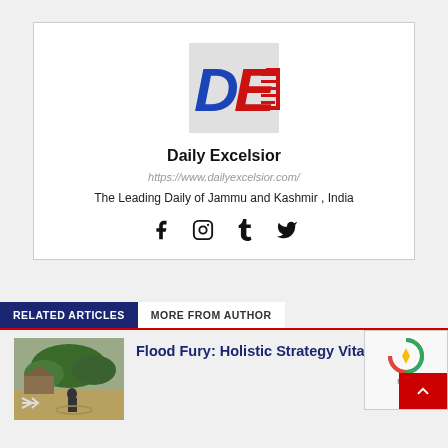[Figure (logo): Daily Excelsior logo with blue D and red E with newspaper icon on grey triangular background]
Daily Excelsior
https://www.dailyexcelsior.com/
The Leading Daily of Jammu and Kashmir , India
[Figure (infographic): Social media icons: Facebook, Instagram, Tumblr, Twitter]
RELATED ARTICLES
MORE FROM AUTHOR
[Figure (photo): Flood scene with a person on a flooded road near submerged trees and structures]
Flood Fury: Holistic Strategy Vital